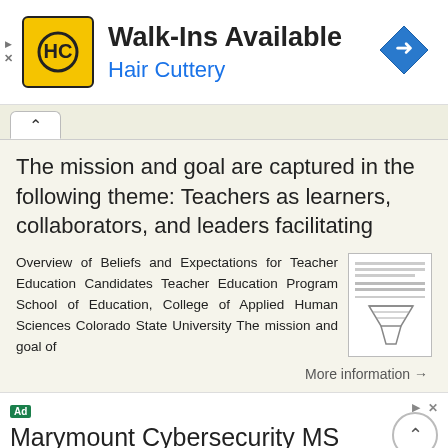[Figure (other): Hair Cuttery advertisement banner with logo, Walk-Ins Available text, and navigation diamond icon]
The mission and goal are captured in the following theme: Teachers as learners, collaborators, and leaders facilitating
Overview of Beliefs and Expectations for Teacher Education Candidates Teacher Education Program School of Education, College of Applied Human Sciences Colorado State University The mission and goal of
More information →
[Figure (other): Marymount Cybersecurity MS advertisement banner]
Ad  marymount.edu  More ▼